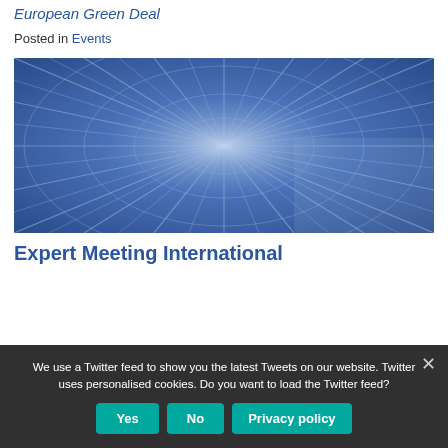European Green Deal
Posted in Events
[Figure (photo): Blue-toned abstract motion blur image of a tunnel or high-speed transport corridor with radial light streaks converging to a vanishing point in the center.]
Expert Meeting International
We use a Twitter feed to show you the latest Tweets on our website. Twitter uses personalised cookies. Do you want to load the Twitter feed?
Yes | No | Privacy policy